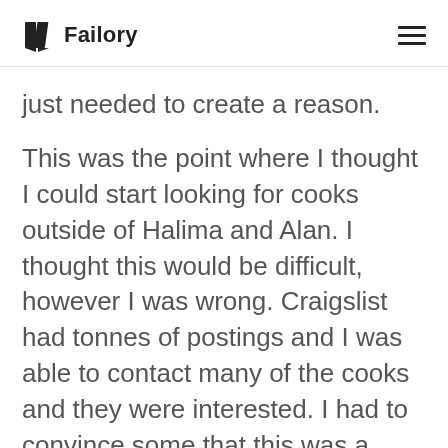Failory
just needed to create a reason.
This was the point where I thought I could start looking for cooks outside of Halima and Alan. I thought this would be difficult, however I was wrong. Craigslist had tonnes of postings and I was able to contact many of the cooks and they were interested. I had to convince some that this was a website and platform for them to sell, while others got the idea right away. Before onboarding them, I needed to make sure they were safe, and that I